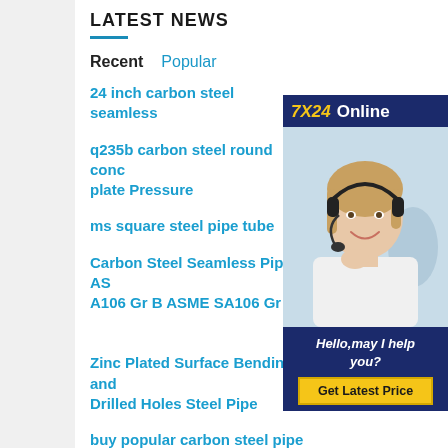LATEST NEWS
Recent   Popular
24 inch carbon steel seamless
q235b carbon steel round conc plate Pressure
ms square steel pipe tube
Carbon Steel Seamless Pipe AS A106 Gr B ASME SA106 Gr B
[Figure (photo): Customer service representative wearing headset, smiling, with 7X24 Online banner and contact info]
Zinc Plated Surface Bending and Drilled Holes Steel Pipe
buy popular carbon steel pipe specifications